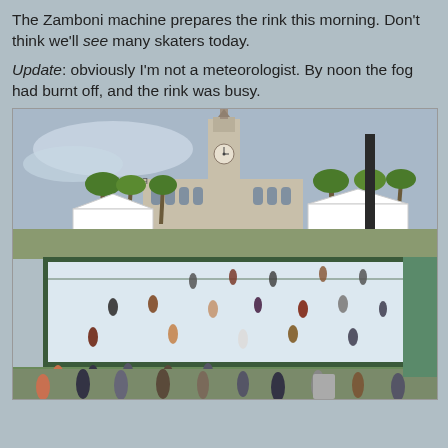The Zamboni machine prepares the rink this morning. Don't think we'll see many skaters today.
Update: obviously I'm not a meteorologist. By noon the fog had burnt off, and the rink was busy.
[Figure (photo): Aerial view of an outdoor ice skating rink near the San Francisco Ferry Building. Many skaters are on the ice. White tent structures and palm trees are visible in the background, along with the Ferry Building clock tower. A tall dark pole is on the right side. People stand along the rink's green fence perimeter.]